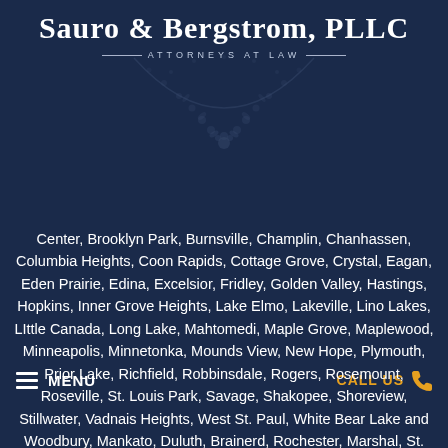Sauro & Bergstrom, PLLC
ATTORNEYS AT LAW
[Figure (illustration): Decorative floral/ornamental semicircle design in dark blue tones beneath the firm name and tagline]
MENU
CALL US
Center, Brooklyn Park, Burnsville, Champlin, Chanhassen, Columbia Heights, Coon Rapids, Cottage Grove, Crystal, Eagan, Eden Prairie, Edina, Excelsior, Fridley, Golden Valley, Hastings, Hopkins, Inner Grove Heights, Lake Elmo, Lakeville, Lino Lakes, LIttle Canada, Long Lake, Mahtomedi, Maple Grove, Maplewood, Minneapolis, Minnetonka, Mounds View, New Hope, Plymouth, Prior Lake, Richfield, Robbinsdale, Rogers, Rosemount, Roseville, St. Louis Park, Savage, Shakopee, Shoreview, Stillwater, Vadnais Heights, West St. Paul, White Bear Lake and Woodbury, Mankato, Duluth, Brainerd, Rochester, Marshal, St. Cloud, MN - Minnesota.